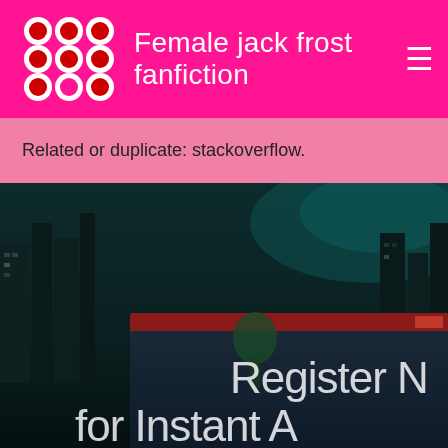Female jack frost fanfiction
Related or duplicate: stackoverflow.
[Figure (screenshot): Dark city night scene background with a popup window overlay showing 'Register NOW for Instant Ac...' text in large white letters on a dark blue/teal background]